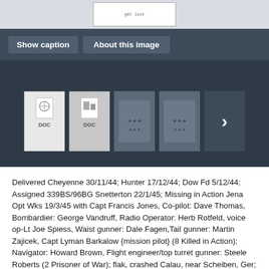[Figure (screenshot): Top portion of a document viewer interface showing a thumbnail image with handwritten text reading 'get lost']
[Figure (screenshot): Web interface with 'Show caption' and 'About this image' buttons on a dark gray background, and a thumbnail gallery row showing two DOC thumbnails, two photo thumbnails, and a next arrow button]
Delivered Cheyenne 30/11/44; Hunter 17/12/44; Dow Fd 5/12/44; Assigned 339BS/96BG Snetterton 22/1/45; Missing in Action Jena Opt Wks 19/3/45 with Capt Francis Jones, Co-pilot: Dave Thomas, Bombardier: George Vandruff, Radio Operator: Herb Rotfeld, voice op-Lt Joe Spiess, Waist gunner: Dale Fagen,Tail gunner: Martin Zajicek, Capt Lyman Barkalow {mission pilot} (8 Killed in Action); Navigator: Howard Brown, Flight engineer/top turret gunner: Steele Roberts (2 Prisoner of War); flak, crashed Calau, near Scheiben, Ger; Missing Air Crew